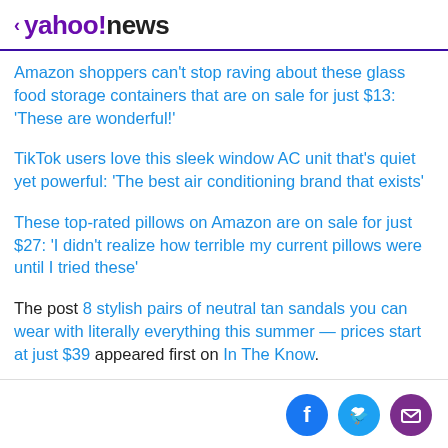< yahoo!news
Amazon shoppers can't stop raving about these glass food storage containers that are on sale for just $13: 'These are wonderful!'
TikTok users love this sleek window AC unit that's quiet yet powerful: 'The best air conditioning brand that exists'
These top-rated pillows on Amazon are on sale for just $27: 'I didn't realize how terrible my current pillows were until I tried these'
The post 8 stylish pairs of neutral tan sandals you can wear with literally everything this summer — prices start at just $39 appeared first on In The Know.
[Figure (infographic): Social sharing icons: Facebook (blue circle), Twitter (light blue circle), Email/envelope (purple circle)]